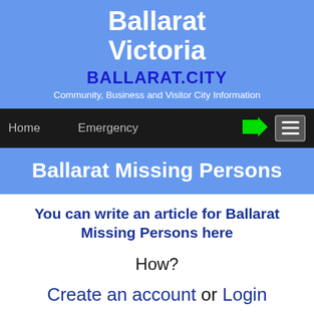Ballarat Victoria
BALLARAT.CITY
Community, Business and Visitor City Information
Home   Emergency
Ballarat Missing Persons
You can write an article for Ballarat Missing Persons here
How?
Create an account or Login
To make an article is easy with your "Articles Menu"